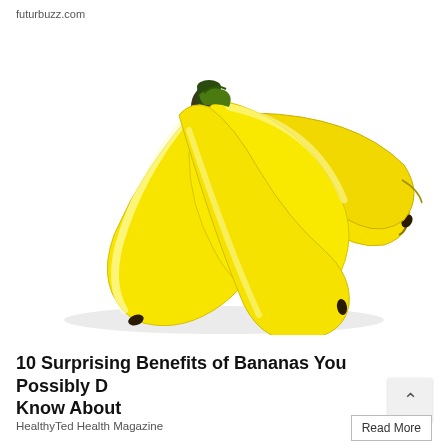futurbuzz.com
[Figure (photo): A bunch of ripe yellow bananas on a white background]
10 Surprising Benefits of Bananas You Possibly D Know About
HealthyTed Health Magazine
Read More